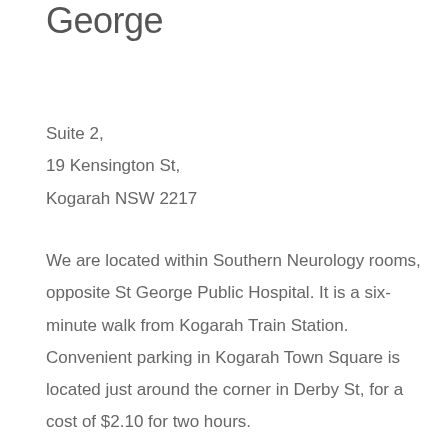George
Suite 2,
19 Kensington St,
Kogarah NSW 2217
We are located within Southern Neurology rooms, opposite St George Public Hospital. It is a six-minute walk from Kogarah Train Station. Convenient parking in Kogarah Town Square is located just around the corner in Derby St, for a cost of $2.10 for two hours.